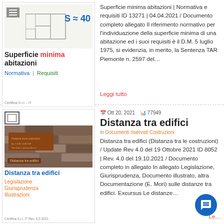[Figure (illustration): Thumbnail for article about Superficie minima abitazioni - shows a floor plan with S=40 label, blue and orange text for Normativa and Requisiti, and Certifica logo]
Superficie minima abitazioni | Normativa e requisiti ID 13271 | 04.04.2021 / Documento completo allegato Il riferimento normativo per l'individuazione della superficie minima di una abitazione ed i suoi requisiti è il D.M. 5 luglio 1975, si evidenzia, in merito, la Sentenza TAR Piemonte n. 2597 del…
Leggi tutto
[Figure (photo): Thumbnail for article about Distanza tra edifici - shows a stone building photo with a plaque, overlaid with title Distanza tra edifici in blue, and Legislazione Giurisprudenza Illustrazioni in orange]
Ott 20, 2021   77949
Distanza tra edifici
in Documenti riservati Costruzioni
Distanza tra edifici (Distanza tra le costruzioni) / Update Rev 4.0 del 19 Ottobre 2021 ID 8052 | Rev. 4.0 del 19.10.2021 / Documento completo in allegato In allegato Legislazione, Giurisprudenza, Documento illustrato, altra Documentazione (E. Mori) sulle distanze tra edifici. Excursus Le distanze…
Leggi tutto